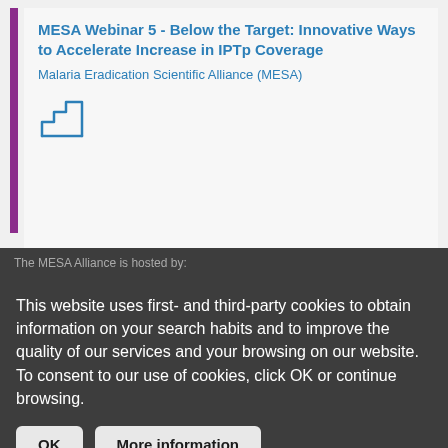MESA Webinar 5 - Below the Target: Innovative Ways to Accelerate Increase in IPTp Coverage
Malaria Eradication Scientific Alliance (MESA)
[Figure (illustration): Small icon showing a staircase/steps symbol in blue outline style]
The MESA Alliance is hosted by:
This website uses first- and third-party cookies to obtain information on your search habits and to improve the quality of our services and your browsing on our website. To consent to our use of cookies, click OK or continue browsing.